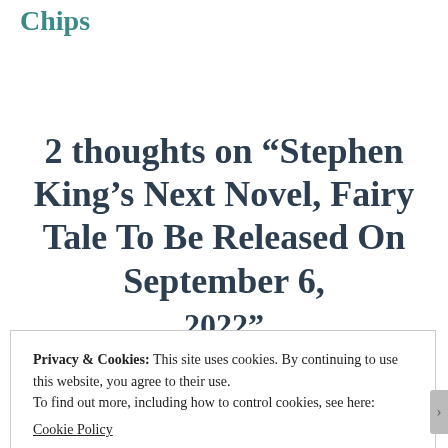Chips
2 thoughts on “Stephen King’s Next Novel, Fairy Tale To Be Released On September 6, 2022”
Privacy & Cookies: This site uses cookies. By continuing to use this website, you agree to their use.
To find out more, including how to control cookies, see here:
Cookie Policy
Close and accept